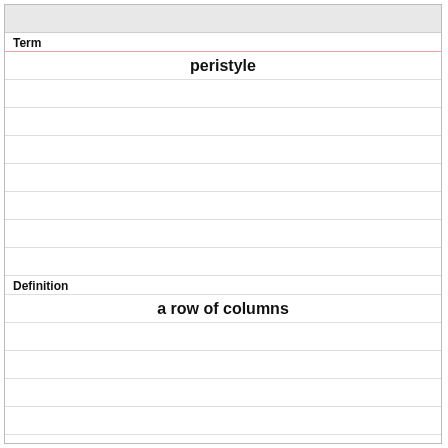| Term | Definition |
| --- | --- |
| peristyle | a row of columns |